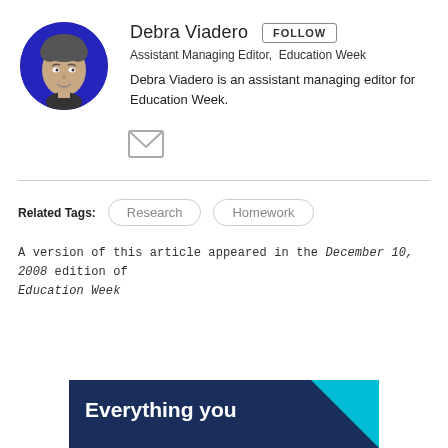[Figure (photo): Circular profile photo of Debra Viadero with blue background]
Debra Viadero
Assistant Managing Editor,  Education Week
Debra Viadero is an assistant managing editor for Education Week.
[Figure (illustration): Email envelope icon (grey)]
Related Tags:
Research
Homework
A version of this article appeared in the December 10, 2008 edition of Education Week
[Figure (illustration): Dark blue banner with teal corner accent and bold white text reading 'Everything you']